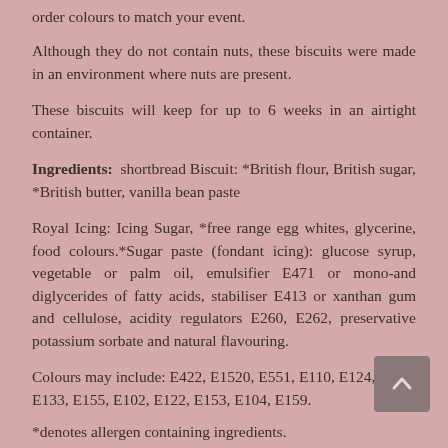order colours to match your event.
Although they do not contain nuts, these biscuits were made in an environment where nuts are present.
These biscuits will keep for up to 6 weeks in an airtight container.
Ingredients:  shortbread Biscuit: *British flour, British sugar, *British butter, vanilla bean paste
Royal Icing: Icing Sugar, *free range egg whites, glycerine, food colours.*Sugar paste (fondant icing): glucose syrup, vegetable or palm oil, emulsifier E471 or mono-and diglycerides of fatty acids, stabiliser E413 or xanthan gum and cellulose, acidity regulators E260, E262, preservative potassium sorbate and natural flavouring.
Colours may include: E422, E1520, E551, E110, E124, E129, E133, E155, E102, E122, E153, E104, E159.
*denotes allergen containing ingredients.